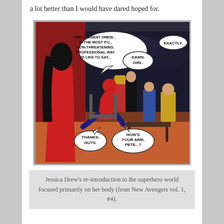a lot better than I would have dared hoped for.
[Figure (illustration): Comic book panel showing Jessica Drew (Spider-Woman) from behind in a red costume with black hair, facing a group of superheroes in a room. Speech bubbles read: 'WELL, AGENT DREW... IN THE MOST P.C., NON-THREATENING, PROFESSIONAL WAY I'D LIKE TO SAY...' and 'DAMN, GIRL.' and 'EXACTLY.' at the top, and 'THANKS, GUYS.' and 'HOW'S YOUR ARM, PETE...?' at the bottom.]
Jessica Drew's re-introduction to the superhero world focused primarily on her body (from New Avengers vol. 1, #4).